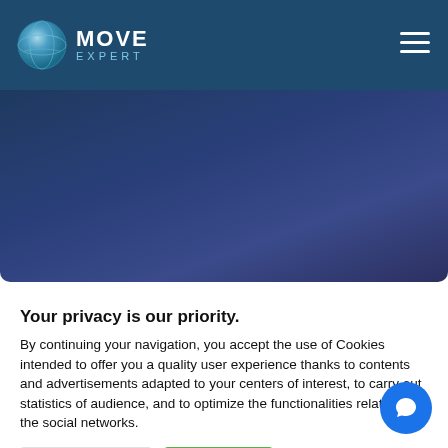[Figure (logo): Move Expert logo with globe icon and navigation hamburger menu on dark blue navbar]
[Figure (photo): Dark blue/navy hero image area with gradient background]
Your privacy is our priority.
By continuing your navigation, you accept the use of Cookies intended to offer you a quality user experience thanks to contents and advertisements adapted to your centers of interest, to carry out statistics of audience, and to optimize the functionalities related to the social networks.
Cookie settings | Accept All